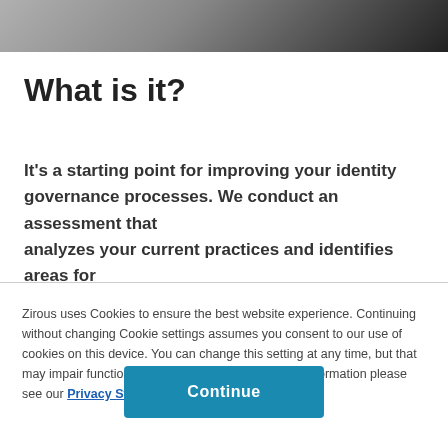[Figure (photo): Dark gradient header background photo showing a laptop/device in shadow]
What is it?
It's a starting point for improving your identity governance processes. We conduct an assessment that analyzes your current practices and identifies areas for
Zirous uses Cookies to ensure the best website experience. Continuing without changing Cookie settings assumes you consent to our use of cookies on this device. You can change this setting at any time, but that may impair functionality on our websites. For more information please see our Privacy Statement
Continue